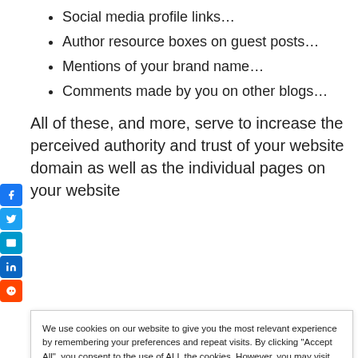Social media profile links…
Author resource boxes on guest posts…
Mentions of your brand name…
Comments made by you on other blogs…
All of these, and more, serve to increase the perceived authority and trust of your website domain as well as the individual pages on your website
We use cookies on our website to give you the most relevant experience by remembering your preferences and repeat visits. By clicking "Accept All", you consent to the use of ALL the cookies. However, you may visit "Cookie Settings" to provide a controlled consent.